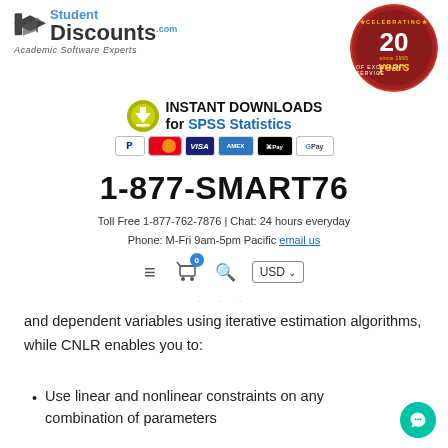[Figure (logo): StudentDiscounts.com Academic Software Experts logo with graduation cap]
[Figure (logo): Celebrating 20 Years Since 1995 of Excellent Service red circular badge]
[Figure (infographic): Instant Downloads for SPSS Statistics banner with download icon and payment method icons]
1-877-SMART76
Toll Free 1-877-762-7876 | Chat: 24 hours everyday
Phone: M-Fri 9am-5pm Pacific email us
[Figure (screenshot): Navigation bar with hamburger menu, shopping cart with 0 badge, search icon, USD currency selector]
and dependent variables using iterative estimation algorithms, while CNLR enables you to:
Use linear and nonlinear constraints on any combination of parameters